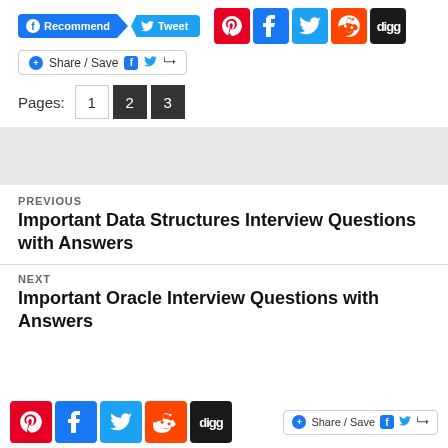[Figure (other): Social sharing buttons row: Facebook Recommend, Tweet, Pinterest, Facebook, Twitter, Reddit, Digg]
[Figure (other): Share / Save bar with Facebook and Twitter icons and share arrow]
Pages: 1  2  3
PREVIOUS
Important Data Structures Interview Questions with Answers
NEXT
Important Oracle Interview Questions with Answers
[Figure (other): Bottom floating social bar: Pinterest, Facebook, Twitter, Reddit, Digg icons plus Share/Save button]